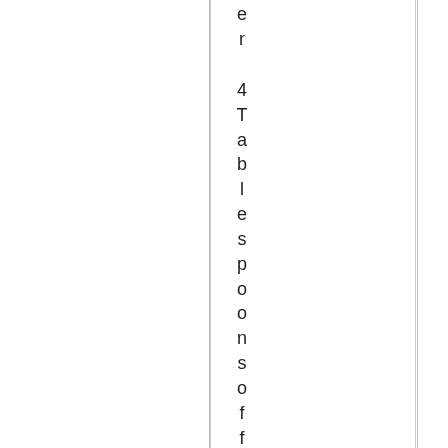er
4 Tablespoons of flour
½ cup of mi